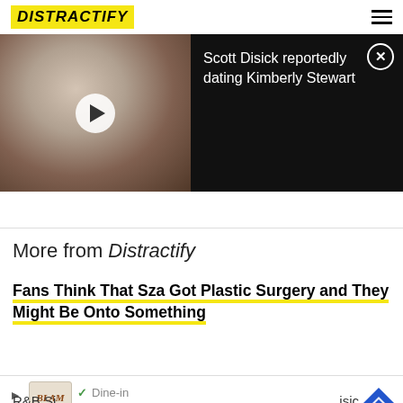[Figure (logo): Distractify logo with yellow background]
[Figure (screenshot): Video thumbnail of a man in a private jet with play button, alongside black panel with text 'Scott Disick reportedly dating Kimberly Stewart' and close button]
More from Distractify
Fans Think That Sza Got Plastic Surgery and They Might Be Onto Something
R&B Si...isic, but Wh...
[Figure (screenshot): Ad overlay showing restaurant listing with Dine-in and Curbside pickup options, logo, and navigation icon]